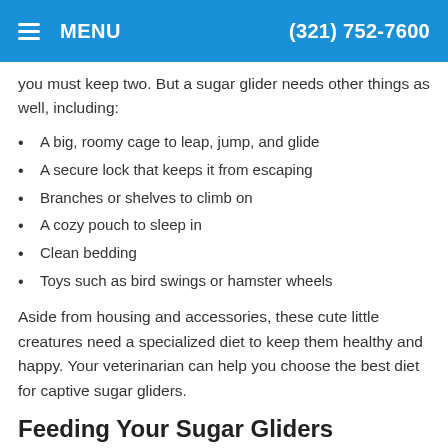MENU  (321) 752-7600
you must keep two. But a sugar glider needs other things as well, including:
A big, roomy cage to leap, jump, and glide
A secure lock that keeps it from escaping
Branches or shelves to climb on
A cozy pouch to sleep in
Clean bedding
Toys such as bird swings or hamster wheels
Aside from housing and accessories, these cute little creatures need a specialized diet to keep them healthy and happy. Your veterinarian can help you choose the best diet for captive sugar gliders.
Feeding Your Sugar Gliders
In the wild, sugar gliders are omnivores, meaning they eat both plants and animals, leaning